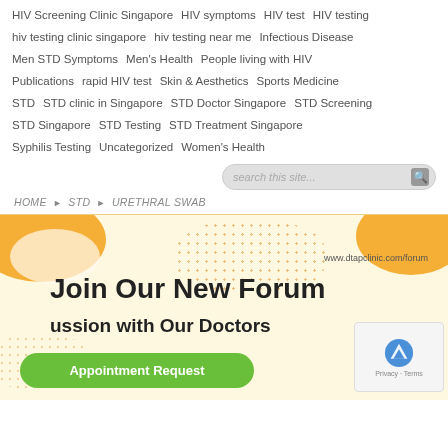HIV Screening Clinic Singapore
HIV symptoms
HIV test
HIV testing
hiv testing clinic singapore
hiv testing near me
Infectious Disease
Men STD Symptoms
Men's Health
People living with HIV
Publications
rapid HIV test
Skin & Aesthetics
Sports Medicine
STD
STD clinic in Singapore
STD Doctor Singapore
STD Screening
STD Singapore
STD Testing
STD Treatment Singapore
Syphilis Testing
Uncategorized
Women's Health
HOME ▶ STD ▶ URETHRAL SWAB
[Figure (infographic): Banner for dtapclinic.com/forum with orange decorative blobs, dots pattern, text 'Join Our New Forum', subtitle 'ussion with Our Doctors', a green Appointment Request button, and reCAPTCHA widget]